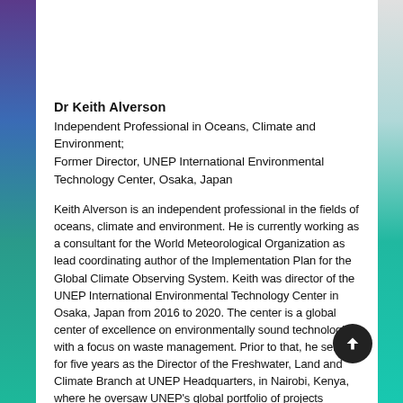Dr Keith Alverson
Independent Professional in Oceans, Climate and Environment;
Former Director, UNEP International Environmental Technology Center, Osaka, Japan
Keith Alverson is an independent professional in the fields of oceans, climate and environment. He is currently working as a consultant for the World Meteorological Organization as lead coordinating author of the Implementation Plan for the Global Climate Observing System. Keith was director of the UNEP International Environmental Technology Center in Osaka, Japan from 2016 to 2020. The center is a global center of excellence on environmentally sound technologies with a focus on waste management. Prior to that, he served for five years as the Director of the Freshwater, Land and Climate Branch at UNEP Headquarters, in Nairobi, Kenya, where he oversaw UNEP's global portfolio of projects